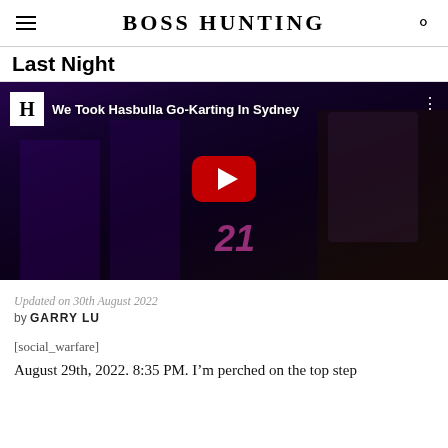BOSS HUNTING
Last Night
[Figure (screenshot): YouTube video thumbnail showing Hasbulla and others at a go-karting venue with dark/neon lighting. Video title reads 'We Took Hasbulla Go-Karting In Sydney' with a Boss Hunting logo icon. A red play button is centered over the image.]
Updated on 30th August 2022
by GARRY LU
[social_warfare]
August 29th, 2022. 8:35 PM. I'm perched on the top step